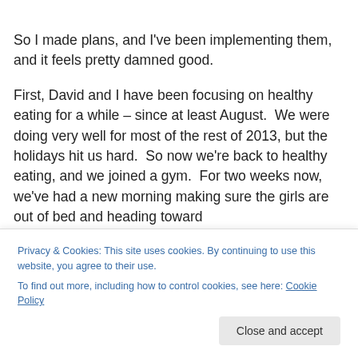So I made plans, and I've been implementing them, and it feels pretty damned good.
First, David and I have been focusing on healthy eating for a while – since at least August.  We were doing very well for most of the rest of 2013, but the holidays hit us hard.  So now we're back to healthy eating, and we joined a gym.  For two weeks now, we've had a new morning making sure the girls are out of bed and heading toward
Privacy & Cookies: This site uses cookies. By continuing to use this website, you agree to their use.
To find out more, including how to control cookies, see here: Cookie Policy